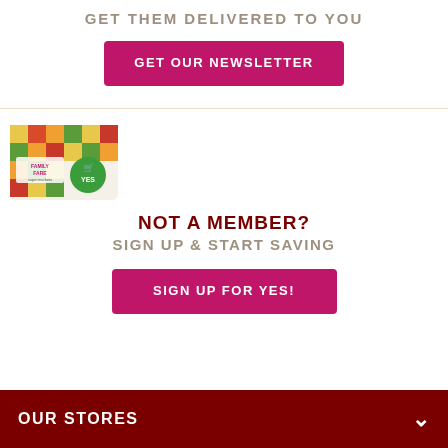GET THEM DELIVERED TO YOU
GET OUR NEWSLETTER
[Figure (illustration): Family Fare loyalty card with colorful food mosaic background and green shopping cart YES logo]
NOT A MEMBER?
SIGN UP & START SAVING
SIGN UP FOR YES!
OUR STORES